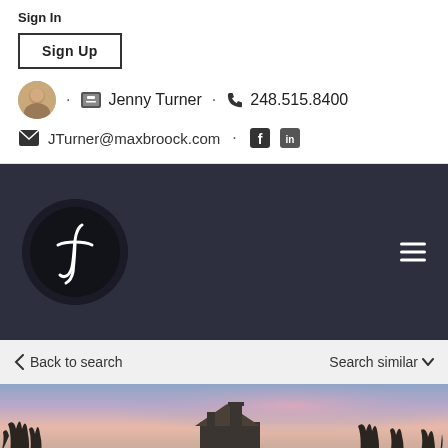Sign In
Sign Up
Jenny Turner · 248.515.8400
JTurner@maxbroock.com
[Figure (logo): Jenny Turner JT monogram logo in white script on dark circular background, within dark navy navigation bar with hamburger menu icon]
Back to search
Search similar
[Figure (photo): Exterior photo of rooftop and chimney against a colorful dusk sky with bare winter trees]